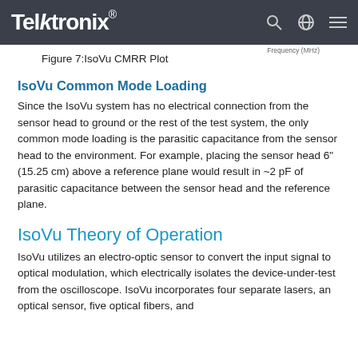Tektronix
Figure 7:IsoVu CMRR Plot
IsoVu Common Mode Loading
Since the IsoVu system has no electrical connection from the sensor head to ground or the rest of the test system, the only common mode loading is the parasitic capacitance from the sensor head to the environment. For example, placing the sensor head 6" (15.25 cm) above a reference plane would result in ~2 pF of parasitic capacitance between the sensor head and the reference plane.
IsoVu Theory of Operation
IsoVu utilizes an electro-optic sensor to convert the input signal to optical modulation, which electrically isolates the device-under-test from the oscilloscope. IsoVu incorporates four separate lasers, an optical sensor, five optical fibers, and